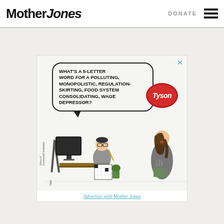Mother Jones | DONATE
[Figure (illustration): Advertisement from Union of Concerned Scientists showing a cartoon crossword puzzle solver asking 'What's a 5-letter word for a polluting, monopolistic, regulation-skirting, food system consolidating, wage depressor?' with a Tyson Foods logo speech bubble reply, and a woman holding a coffee cup standing nearby. Byline reads Elijah / Union of Concerned Scientists.]
Advertise with Mother Jones